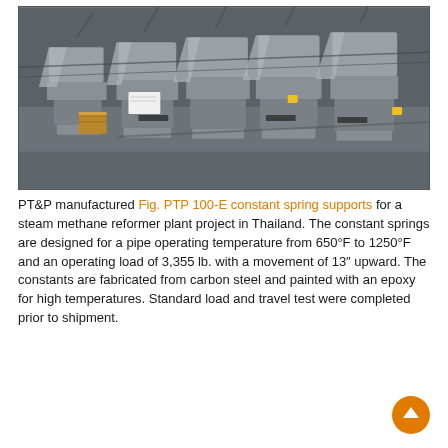[Figure (photo): Industrial photograph of multiple grey Fig. PTP 100-E constant spring supports arranged on a warehouse/yard floor, viewed from an angle. The units are grey metal fabricated assemblies with cylindrical housings, angled frames, and various pipes/rods. A wooden block is visible on the left side. Yellow tags are visible on some units.]
PT&P manufactured Fig. PTP 100-E constant spring supports for a steam methane reformer plant project in Thailand. The constant springs are designed for a pipe operating temperature from 650°F to 1250°F and an operating load of 3,355 lb. with a movement of 13″ upward. The constants are fabricated from carbon steel and painted with an epoxy for high temperatures. Standard load and travel test were completed prior to shipment.